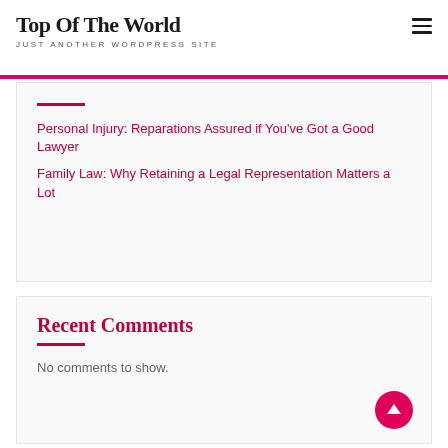Top Of The World
JUST ANOTHER WORDPRESS SITE
Personal Injury: Reparations Assured if You've Got a Good Lawyer
Family Law: Why Retaining a Legal Representation Matters a Lot
Recent Comments
No comments to show.